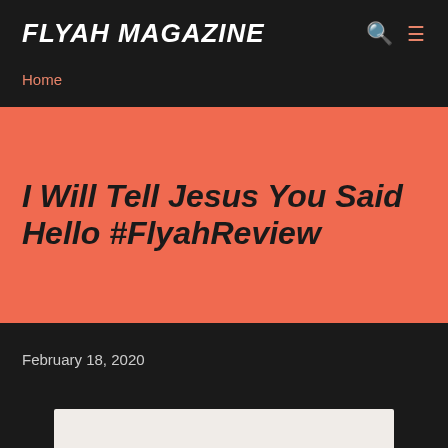FLYAH MAGAZINE
Home
I Will Tell Jesus You Said Hello #FlyahReview
February 18, 2020
[Figure (photo): Partially visible image at bottom of page, light/cream colored background]